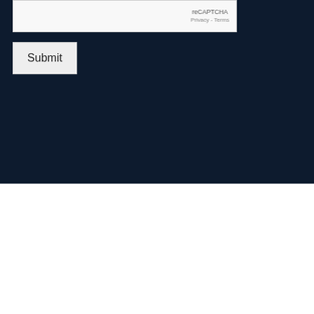[Figure (screenshot): reCAPTCHA widget box with 'reCAPTCHA' branding and 'Privacy - Terms' links on dark navy background]
[Figure (screenshot): Submit button - light gray rectangular button with text 'Submit' on dark navy background]
[Figure (logo): MTT Contracting Inc. company logo in blue on white background, featuring stylized letters MTT with hammers and 'CONTRACTING.' text below]
[Figure (other): Upward arrow navigation icon in blue]